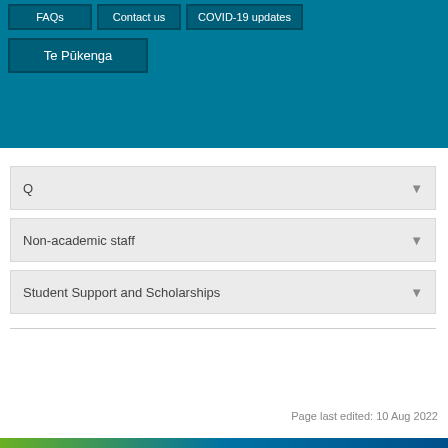FAQs | Contact us | COVID-19 updates | Te Pūkenga
Q
Non-academic staff
Student Support and Scholarships
Page last edited: 10 Aug 2022